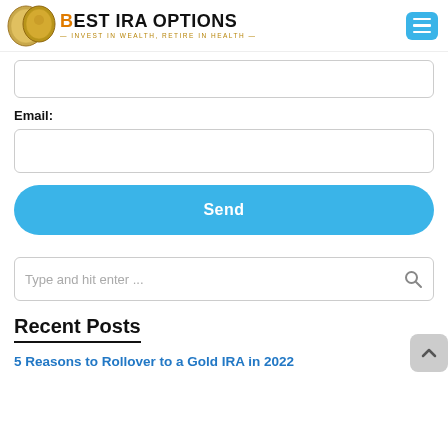BEST IRA OPTIONS — INVEST IN WEALTH, RETIRE IN HEALTH —
[Figure (screenshot): Text input field (top portion cut off)]
Email:
[Figure (screenshot): Email input field]
Send
[Figure (screenshot): Search bar with placeholder 'Type and hit enter ...']
Recent Posts
5 Reasons to Rollover to a Gold IRA in 2022